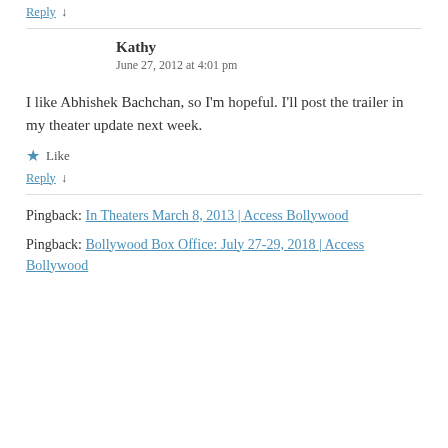Reply ↓
Kathy
June 27, 2012 at 4:01 pm
I like Abhishek Bachchan, so I'm hopeful. I'll post the trailer in my theater update next week.
Like
Reply ↓
Pingback: In Theaters March 8, 2013 | Access Bollywood
Pingback: Bollywood Box Office: July 27-29, 2018 | Access Bollywood